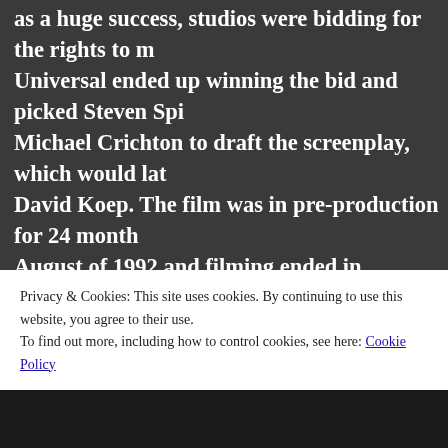as a huge success, studios were bidding for the rights to m Universal ended up winning the bid and picked Steven Spi Michael Crichton to draft the screenplay, which would lat David Koep. The film was in pre-production for 24 months August of 1992 and filming ended in November of 1992. A filming, from Hawaii to soundstages in Hollywood. With over a year to develop. The movie launched in June of 199 movie for its action sequences, music, and most importan effects. The plot of the movie followed, somewhat, closely characters were mixed around, and some of the more im from the novel had their screen time reduced to a mere m Parts of the story did remain untouched, with the except
Privacy & Cookies: This site uses cookies. By continuing to use this website, you agree to their use.
To find out more, including how to control cookies, see here: Cookie Policy
Close and accept